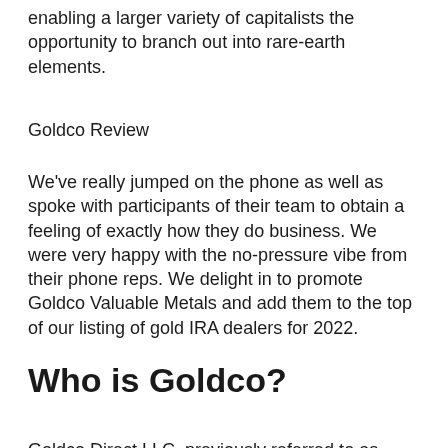enabling a larger variety of capitalists the opportunity to branch out into rare-earth elements.
Goldco Review
We've really jumped on the phone as well as spoke with participants of their team to obtain a feeling of exactly how they do business. We were very happy with the no-pressure vibe from their phone reps. We delight in to promote Goldco Valuable Metals and add them to the top of our listing of gold IRA dealers for 2022.
Who is Goldco?
Goldco Direct LLC, previously referred to as